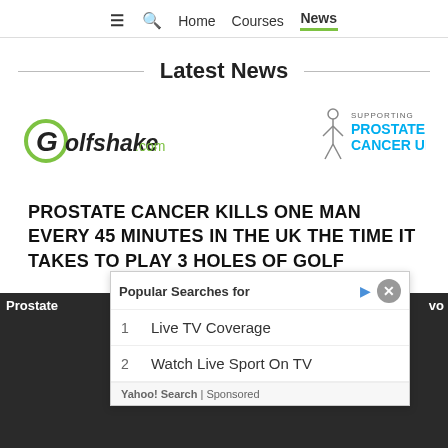≡  🔍  Home  Courses  News
Latest News
[Figure (logo): Golfshake.com logo in black and green]
[Figure (logo): Supporting Prostate Cancer UK logo with figure icon in blue and grey]
PROSTATE CANCER KILLS ONE MAN EVERY 45 MINUTES IN THE UK THE TIME IT TAKES TO PLAY 3 HOLES OF GOLF
Prostate
vo
Popular Searches for
1  Live TV Coverage
2  Watch Live Sport On TV
Yahoo! Search | Sponsored